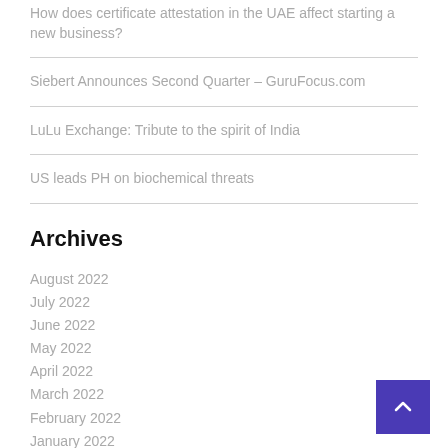How does certificate attestation in the UAE affect starting a new business?
Siebert Announces Second Quarter – GuruFocus.com
LuLu Exchange: Tribute to the spirit of India
US leads PH on biochemical threats
Archives
August 2022
July 2022
June 2022
May 2022
April 2022
March 2022
February 2022
January 2022
December 2021